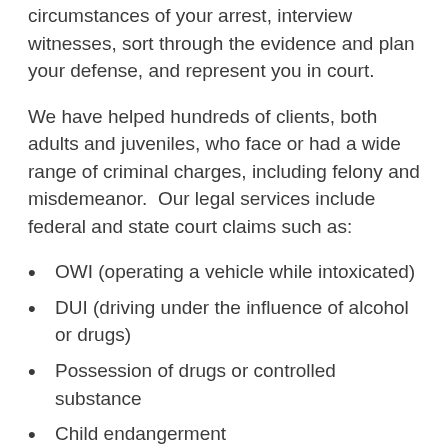circumstances of your arrest, interview witnesses, sort through the evidence and plan your defense, and represent you in court.
We have helped hundreds of clients, both adults and juveniles, who face or had a wide range of criminal charges, including felony and misdemeanor.  Our legal services include federal and state court claims such as:
OWI (operating a vehicle while intoxicated)
DUI (driving under the influence of alcohol or drugs)
Possession of drugs or controlled substance
Child endangerment
Drug trafficking
Sexual abuse
Domestic Violence